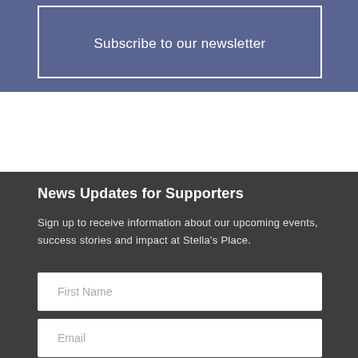Subscribe to our newsletter
News Updates for Supporters
Sign up to receive information about our upcoming events, success stories and impact at Stella's Place.
First Name
Email